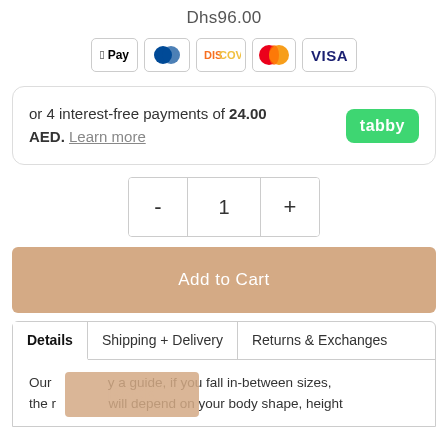Dhs96.00
[Figure (other): Payment method icons: Apple Pay, Diners Club, Discover, Mastercard, Visa]
or 4 interest-free payments of 24.00 AED. Learn more [tabby logo]
- 1 +
Add to Cart
Details | Shipping + Delivery | Returns & Exchanges
Our [BACK] y a guide, if you fall in-between sizes, the right size for you will depend on your body shape, height